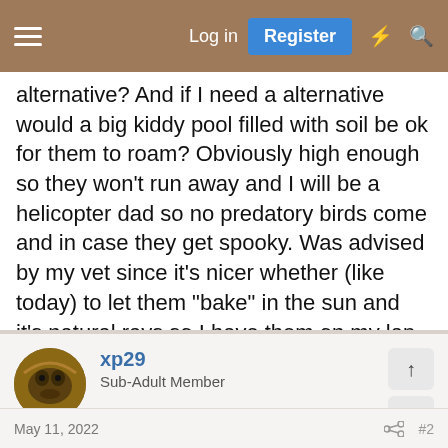Log in  Register
alternative? And if I need a alternative would a big kiddy pool filled with soil be ok for them to roam? Obviously high enough so they won't run away and I will be a helicopter dad so no predatory birds come and in case they get spooky. Was advised by my vet since it's nicer whether (like today) to let them "bake" in the sun and it's natural rays so I have them on my lap at the moment
Last edited: May 11, 2022
Reply
xp29
Sub-Adult Member
May 11, 2022
#2